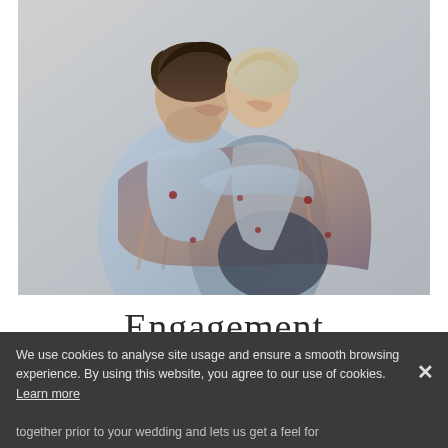[Figure (photo): A couple kissing and embracing, wrapped in a blanket or shawl, against a light grey background. Engagement photography style.]
Engagement
We use cookies to analyse site usage and ensure a smooth browsing experience. By using this website, you agree to our use of cookies. Learn more
together prior to your wedding and lets us get a feel for